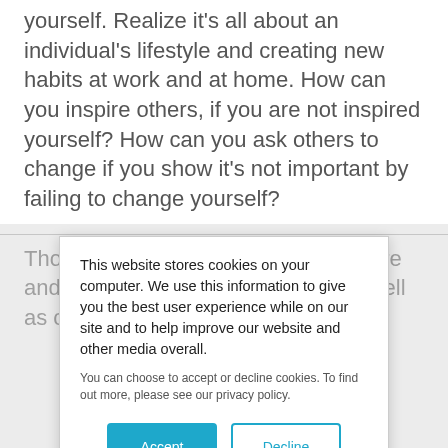You will fail to change others, if you do not change yourself. Realize it's all about an individual's lifestyle and creating new habits at work and at home. How can you inspire others, if you are not inspired yourself? How can you ask others to change if you show it's not important by failing to change yourself?

Those messages will read as insincere and you will lose your adapters [as well as credibility and
This website stores cookies on your computer. We use this information to give you the best user experience while on our site and to help improve our website and other media overall.
You can choose to accept or decline cookies. To find out more, please see our privacy policy.